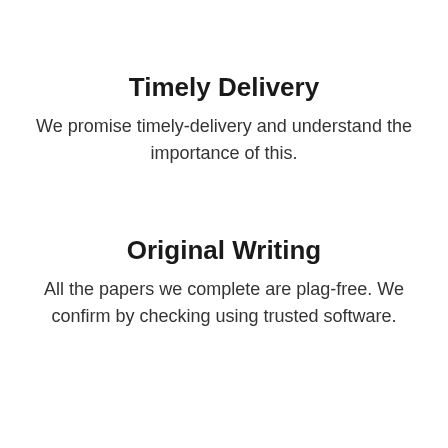Timely Delivery
We promise timely-delivery and understand the importance of this.
Original Writing
All the papers we complete are plag-free. We confirm by checking using trusted software.